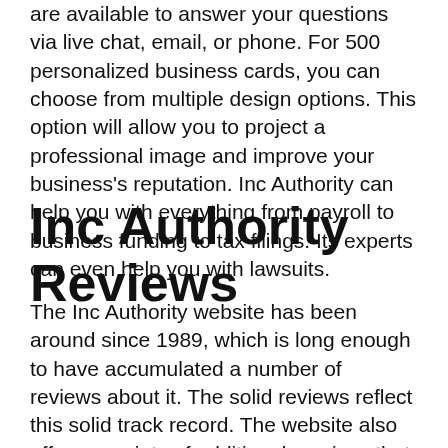are available to answer your questions via live chat, email, or phone. For 500 personalized business cards, you can choose from multiple design options. This option will allow you to project a professional image and improve your business's reputation. Inc Authority can help you with everything from payroll to business funding to tax filings. Its experts can even help you with lawsuits.
Inc Authority Reviews
The Inc Authority website has been around since 1989, which is long enough to have accumulated a number of reviews about it. The solid reviews reflect this solid track record. The website also offers a variety of additional services that some businesses